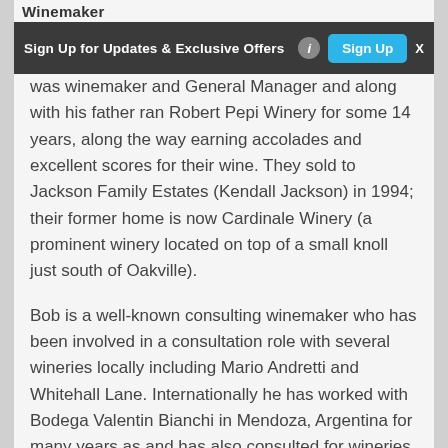Winemaker
[Figure (screenshot): Ad banner: Sign Up for Updates & Exclusive Offers with Sign Up button and X close button]
was winemaker and General Manager and along with his father ran Robert Pepi Winery for some 14 years, along the way earning accolades and excellent scores for their wine. They sold to Jackson Family Estates (Kendall Jackson) in 1994; their former home is now Cardinale Winery (a prominent winery located on top of a small knoll just south of Oakville).
Bob is a well-known consulting winemaker who has been involved in a consultation role with several wineries locally including Mario Andretti and Whitehall Lane. Internationally he has worked with Bodega Valentin Bianchi in Mendoza, Argentina for many years as and has also consulted for wineries in Chile, Texas and Colorado. As a result every year Bob experiences two harvests. Not a bad gig at all. In